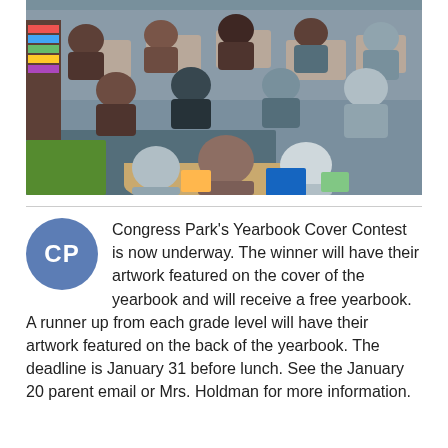[Figure (photo): Classroom photo showing students seated at desks and a round table, viewed from behind, in an elementary school classroom with colorful supplies and a blue carpet.]
Congress Park's Yearbook Cover Contest is now underway. The winner will have their artwork featured on the cover of the yearbook and will receive a free yearbook. A runner up from each grade level will have their artwork featured on the back of the yearbook. The deadline is January 31 before lunch. See the January 20 parent email or Mrs. Holdman for more information.